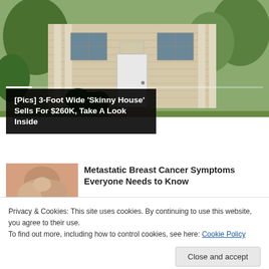[Figure (photo): Exterior photo of a narrow beige/tan house with white door, evergreen shrubs, and trees in front yard. Slideshow with media controls (previous, pause, next) and progress bar.]
[Pics] 3-Foot Wide 'Skinny House' Sells For $260K, Take A Look Inside
[Figure (photo): Thumbnail photo of person touching their chest/breast area, representing metastatic breast cancer article.]
Metastatic Breast Cancer Symptoms Everyone Needs to Know
Privacy & Cookies: This site uses cookies. By continuing to use this website, you agree to their use.
To find out more, including how to control cookies, see here: Cookie Policy
Close and accept
Happened to Them